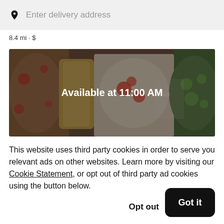Enter delivery address
8.4 mi • $
[Figure (photo): Food delivery app banner showing pizza, salad, and drinks with a dark overlay and text 'Available at 11:00 AM']
This website uses third party cookies in order to serve you relevant ads on other websites. Learn more by visiting our Cookie Statement, or opt out of third party ad cookies using the button below.
Opt out
Got it